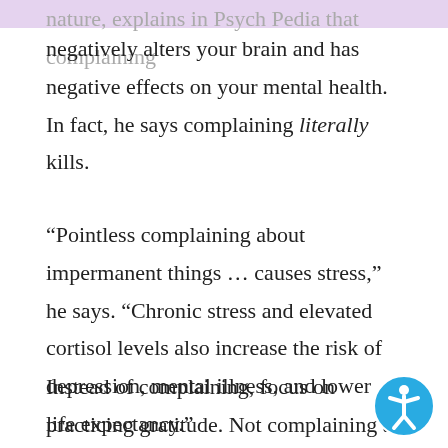nature, explains in Psych Pedia that complaining negatively alters your brain and has negative effects on your mental health. In fact, he says complaining literally kills.
“Pointless complaining about impermanent things … causes stress,” he says. “Chronic stress and elevated cortisol levels also increase the risk of depression, mental illness, and lower life expectancy.”
Instead of complaining, focus on practicing gratitude. Not complaining at all is already an act of kindness. Imagine the impact that will make the...